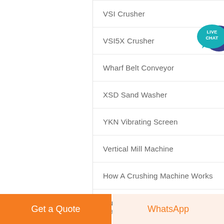VSI Crusher
VSI5X Crusher
Wharf Belt Conveyor
XSD Sand Washer
YKN Vibrating Screen
Vertical Mill Machine
How A Crushing Machine Works
Quartz Sand Mining China Market
[Figure (illustration): Live Chat speech bubble badge in teal/blue colors with text LIVE CHAT]
Get a Quote
WhatsApp